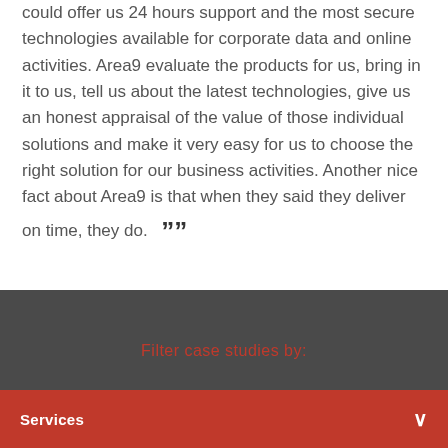could offer us 24 hours support and the most secure technologies available for corporate data and online activities. Area9 evaluate the products for us, bring in it to us, tell us about the latest technologies, give us an honest appraisal of the value of those individual solutions and make it very easy for us to choose the right solution for our business activities. Another nice fact about Area9 is that when they said they deliver on time, they do. ””
Filter case studies by:
Services